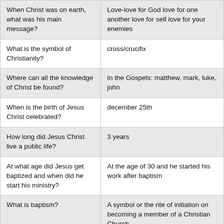| Question | Answer |
| --- | --- |
| When Christ was on earth, what was his main message? | Love-love for God love for one another love for self love for your enemies |
| What is the symbol of Christianity? | cross/crucifix |
| Where can all the knowledge of Christ be found? | In the Gospels: matthew, mark, luke, john |
| When is the birth of Jesus Christ celebrated? | december 25th |
| How long did Jesus Christ live a public life? | 3 years |
| At what age did Jesus get baptized and when did he start his ministry? | At the age of 30 and he started his work after baptism |
| What is baptism? | A symbol or the rite of initiation on becoming a member of a Christian Church |
| Who baptized Jesus | John the Baptist and in the Jordan River |